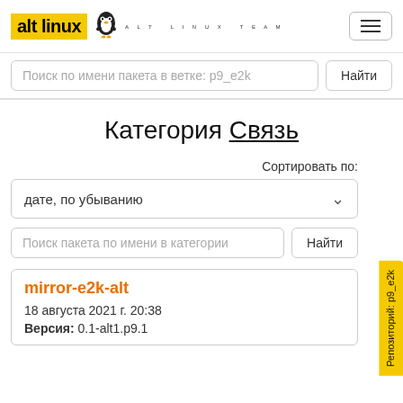[Figure (logo): Alt Linux Team logo with yellow background and penguin graphic]
Поиск по имени пакета в ветке: p9_e2k
Категория Связь
Сортировать по:
дате, по убыванию
Поиск пакета по имени в категории
mirror-e2k-alt
18 августа 2021 г. 20:38
Версия: 0.1-alt1.p9.1
Репозиторий: p9_e2k